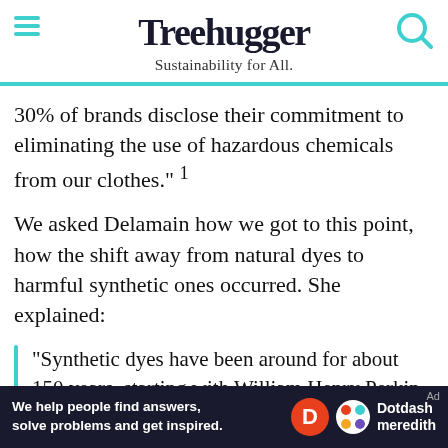Treehugger — Sustainability for All.
30% of brands disclose their commitment to eliminating the use of hazardous chemicals from our clothes." 1
We asked Delamain how we got to this point, how the shift away from natural dyes to harmful synthetic ones occurred. She explained:
"Synthetic dyes have been around for about 150 years, starting with William Henry Perkin in 1856 who accidentally synthesised a mauve dye while trying to make quinine. However, it wasn't for another 50 years that synthetic dyes became
Ad — We help people find answers, solve problems and get inspired. Dotdash meredith